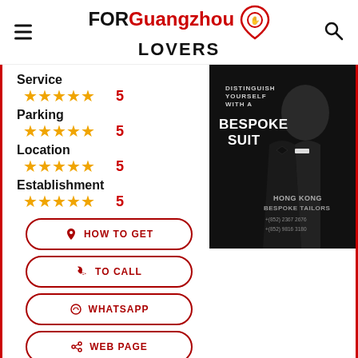FOR Guangzhou LOVERS
Service ★★★★★ 5
Parking ★★★★★ 5
Location ★★★★★ 5
Establishment ★★★★★ 5
[Figure (photo): Advertisement for Hong Kong Bespoke Tailors featuring a man in a black tuxedo with text: DISTINGUISH YOURSELF WITH A BESPOKE SUIT, HONG KONG BESPOKE TAILORS, +(852) 2367 2676, +(852) 9816 3180]
HOW TO GET
TO CALL
WHATSAPP
WEB PAGE